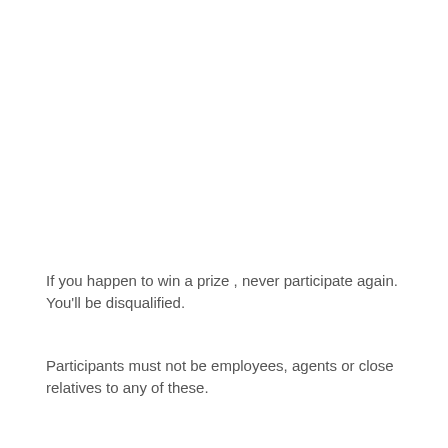If you happen to win a prize , never participate again. You'll be disqualified.
Participants must not be employees, agents or close relatives to any of these.